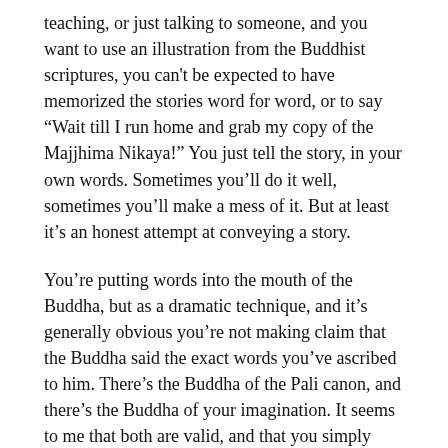teaching, or just talking to someone, and you want to use an illustration from the Buddhist scriptures, you can't be expected to have memorized the stories word for word, or to say “Wait till I run home and grab my copy of the Majjhima Nikaya!” You just tell the story, in your own words. Sometimes you’ll do it well, sometimes you’ll make a mess of it. But at least it’s an honest attempt at conveying a story.
You’re putting words into the mouth of the Buddha, but as a dramatic technique, and it’s generally obvious you’re not making claim that the Buddha said the exact words you’ve ascribed to him. There’s the Buddha of the Pali canon, and there’s the Buddha of your imagination. It seems to me that both are valid, and that you simply have to be careful not to mix them up.
Mixing up the two—Buddha of the Pali canon and...